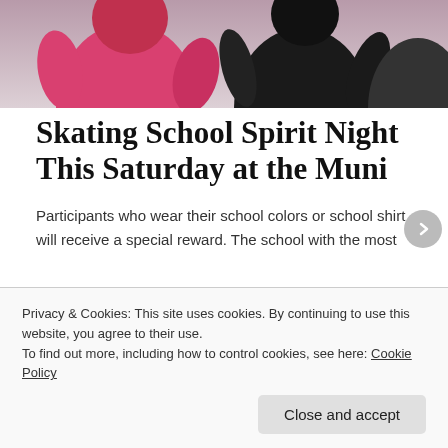[Figure (photo): Cropped photo showing torsos of people in athletic wear — one in pink/magenta and one in dark/black clothing, photographed from waist up against a light background.]
Skating School Spirit Night This Saturday at the Muni
Participants who wear their school colors or school shirt will receive a special reward. The school with the most color dressed participants will each receive a raffle ticket for a chance to win an even bigger prize!
Privacy & Cookies: This site uses cookies. By continuing to use this website, you agree to their use.
To find out more, including how to control cookies, see here: Cookie Policy
Close and accept